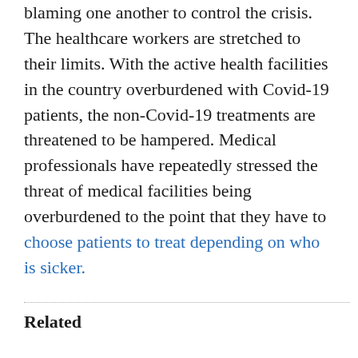blaming one another to control the crisis. The healthcare workers are stretched to their limits. With the active health facilities in the country overburdened with Covid-19 patients, the non-Covid-19 treatments are threatened to be hampered. Medical professionals have repeatedly stressed the threat of medical facilities being overburdened to the point that they have to choose patients to treat depending on who is sicker.
Related